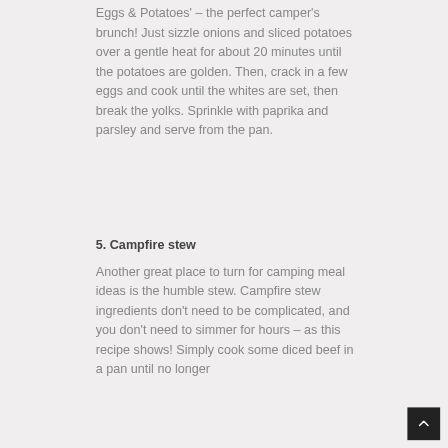Eggs & Potatoes' – the perfect camper's brunch! Just sizzle onions and sliced potatoes over a gentle heat for about 20 minutes until the potatoes are golden. Then, crack in a few eggs and cook until the whites are set, then break the yolks. Sprinkle with paprika and parsley and serve from the pan.
5. Campfire stew
Another great place to turn for camping meal ideas is the humble stew. Campfire stew ingredients don't need to be complicated, and you don't need to simmer for hours – as this recipe shows! Simply cook some diced beef in a pan until no longer